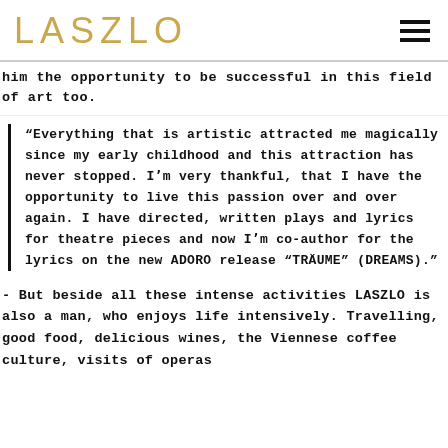LASZLO
him the opportunity to be successful in this field of art too.
“Everything that is artistic attracted me magically since my early childhood and this attraction has never stopped. Iʼm very thankful, that I have the opportunity to live this passion over and over again. I have directed, written plays and lyrics for theatre pieces and now Iʼm co-author for the lyrics on the new ADORO release “TRÄUME” (DREAMS).”
- But beside all these intense activities LASZLO is also a man, who enjoys life intensively. Travelling, good food, delicious wines, the Viennese coffee culture, visits of operas